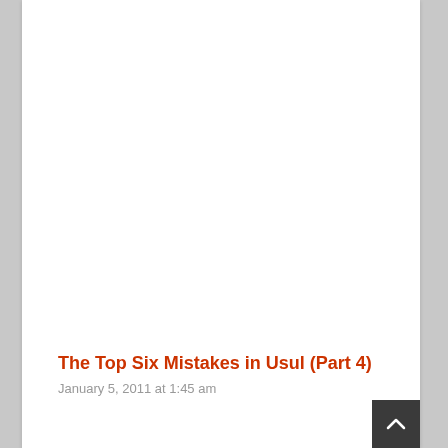The Top Six Mistakes in Usul (Part 4)
January 5, 2011 at 1:45 am